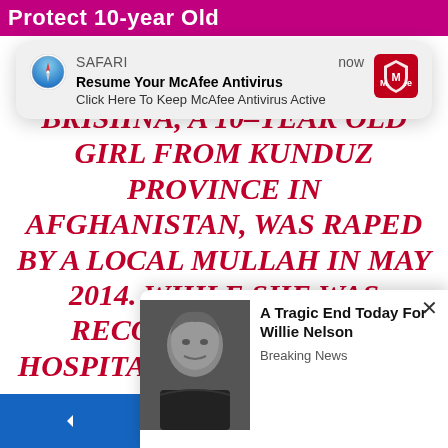Protect 10-year Old
Rape Survivor from Honor Killing
2014 (thanks Relgion of Peace.com)
[Figure (screenshot): Safari browser notification overlay: 'Resume Your McAfee Antivirus — Click Here To Keep McAfee Antivirus Active' with McAfee logo]
BRISHNA, A 10-YEAR OLD GIRL FROM KUNDUZ PROVINCE IN AFGHANISTAN, WAS RAPED BY A LOCAL MULLAH IN MAY 2014. WHILE SHE WAS RECOVERING IN THE HOSPITAL, HER FAMILY AND
[Figure (screenshot): Bottom pop-up ad: Photo of Willie Nelson with text 'A Tragic End Today For Willie Nelson' and category 'Breaking News' with a close (×) button]